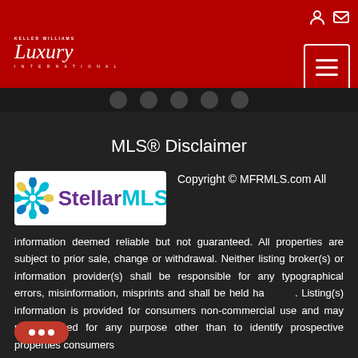[Figure (logo): Keller Williams Luxury International logo in white on red header background]
MLS® Disclaimer
[Figure (logo): Stellar MLS logo with snowflake icon, purple 'Stellar' and cyan 'MLS' text on white background]
Copyright © MFRMLS.com All information deemed reliable but not guaranteed. All properties are subject to prior sale, change or withdrawal. Neither listing broker(s) or information provider(s) shall be responsible for any typographical errors, misinformation, misprints and shall be held harmless. Listing(s) information is provided for consumers non-commercial use and may not be used for any purpose other than to identify prospective properties consumers